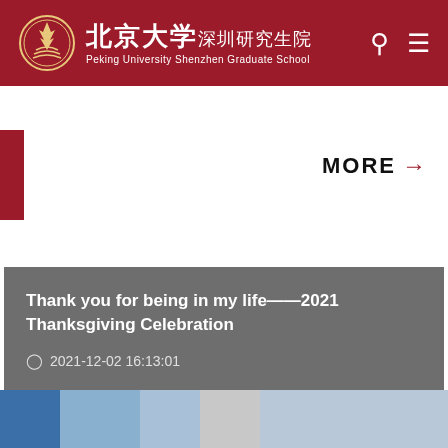北京大学 深圳研究生院 Peking University Shenzhen Graduate School
MORE →
Thank you for being in my life——2021 Thanksgiving Celebration
2021-12-02 16:13:01
[Figure (photo): Partial view of a photo strip at the bottom of the page, showing a blue and gray toned image related to a university event.]